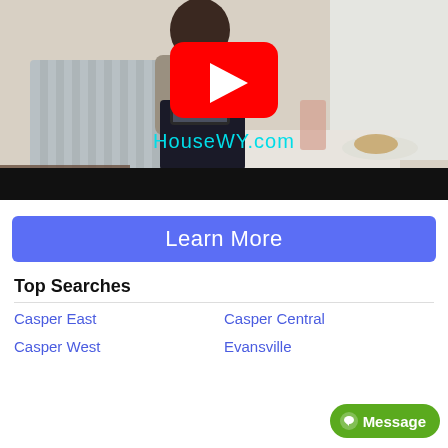[Figure (screenshot): Video thumbnail showing a woman sitting in a striped chair using a tablet. A YouTube play button is overlaid in the center. The text 'HouseWY.com' appears in cyan at the bottom of the image. A black bar appears at the very bottom of the video frame.]
Learn More
Top Searches
Casper East
Casper Central
Casper West
Evansville